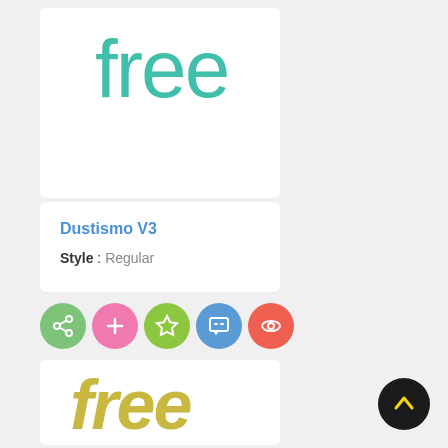[Figure (illustration): Font preview card showing the word 'free' in large teal/green rounded lettering on white background]
Dustismo V3
Style : Regular
[Figure (illustration): Row of five colored circular icon buttons: green share icon, pink plus icon, green star icon, blue chat/comment icon, red eye icon]
[Figure (illustration): Font preview card showing the word 'free' in large olive/gold italic bold lettering on white background]
[Figure (illustration): Black circular scroll-up button with yellow upward arrow]